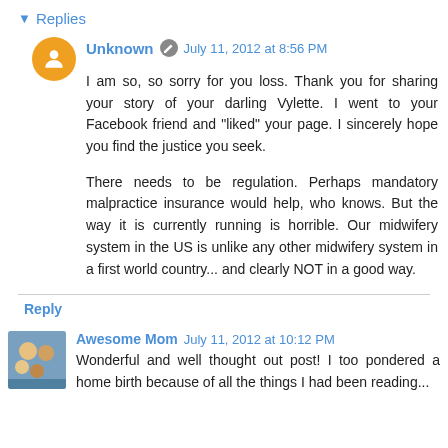▾ Replies
Unknown   July 11, 2012 at 8:56 PM

I am so, so sorry for you loss. Thank you for sharing your story of your darling Vylette. I went to your Facebook friend and "liked" your page. I sincerely hope you find the justice you seek.

There needs to be regulation. Perhaps mandatory malpractice insurance would help, who knows. But the way it is currently running is horrible. Our midwifery system in the US is unlike any other midwifery system in a first world country... and clearly NOT in a good way.
Reply
Awesome Mom   July 11, 2012 at 10:12 PM

Wonderful and well thought out post! I too pondered a home birth because of all the things I had been reading...